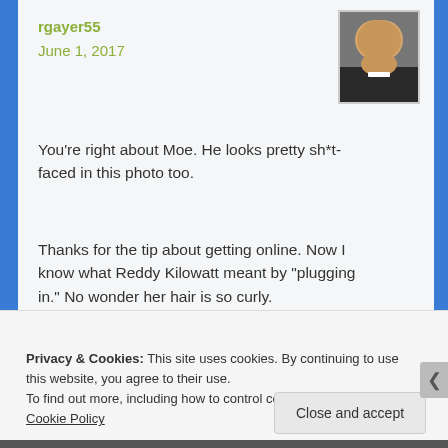rgayer55
June 1, 2017
[Figure (photo): Avatar photo of an older man in a suit]
You're right about Moe. He looks pretty sh*t-faced in this photo too.
Thanks for the tip about getting online. Now I know what Reddy Kilowatt meant by "plugging in." No wonder her hair is so curly.
★ Like
Reply
Privacy & Cookies: This site uses cookies. By continuing to use this website, you agree to their use.
To find out more, including how to control cookies, see here: Cookie Policy
Close and accept